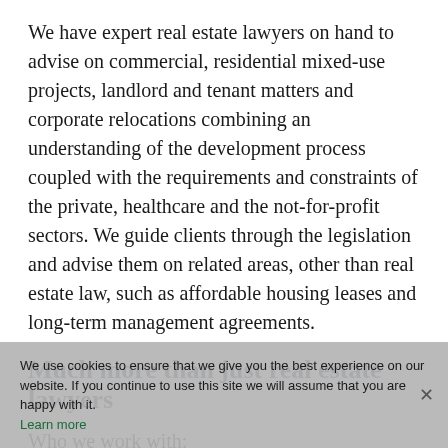We have expert real estate lawyers on hand to advise on commercial, residential mixed-use projects, landlord and tenant matters and corporate relocations combining an understanding of the development process coupled with the requirements and constraints of the private, healthcare and the not-for-profit sectors. We guide clients through the legislation and advise them on related areas, other than real estate law, such as affordable housing leases and long-term management agreements.
Much more than just real estate lawyers
Who we work with:
Property developers
Investors
Construction companies
Landlords,